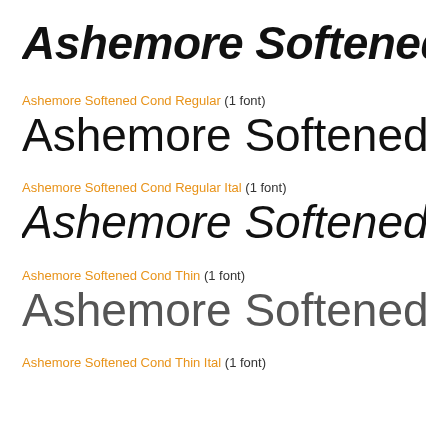Ashemore Softened Cond Medium Italic (preview title)
Ashemore Softened Cond Regular (1 font)
Ashemore Softened Cond Regular (preview)
Ashemore Softened Cond Regular Ital (1 font)
Ashemore Softened Cond Regular Italic (preview)
Ashemore Softened Cond Thin (1 font)
Ashemore Softened Cond Thin (preview)
Ashemore Softened Cond Thin Ital (1 font)